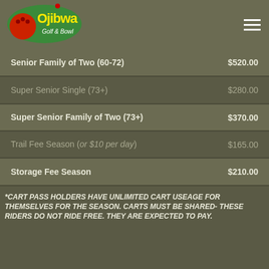[Figure (logo): Ojibwa Golf & Bowl logo with bowling ball and green background]
| Item | Price |
| --- | --- |
| Senior Family of Two (60-72) | $520.00 |
| Super Senior Single (73+) | $280.00 |
| Super Senior Family of Two (73+) | $370.00 |
| Trail Fee Season (or $10 per day) | $165.00 |
| Storage Fee Season | $210.00 |
*CART PASS HOLDERS HAVE UNLIMITED CART USEAGE FOR THEMSELVES FOR THE SEASON. CARTS MUST BE SHARED- THESE RIDERS DO NOT RIDE FREE. THEY ARE EXPECTED TO PAY.